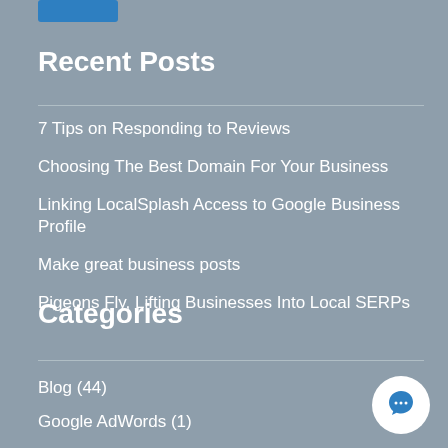[Figure (other): Blue button/badge at top]
Recent Posts
7 Tips on Responding to Reviews
Choosing The Best Domain For Your Business
Linking LocalSplash Access to Google Business Profile
Make great business posts
Pigeons Fly, Lifting Businesses Into Local SERPs
Categories
Blog (44)
Google AdWords (1)